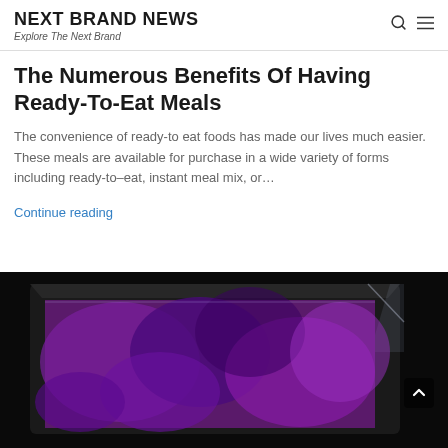NEXT BRAND NEWS
Explore The Next Brand
The Numerous Benefits Of Having Ready-To-Eat Meals
The convenience of ready-to eat foods has made our lives much easier. These meals are available for purchase in a wide variety of forms including ready-to–eat, instant meal mix, or…
Continue reading
[Figure (photo): Photo of a tablet or screen device showing a purple/violet abstract background, viewed from a slightly elevated angle against a dark/black background. A back-to-top arrow button is visible in the bottom right corner.]